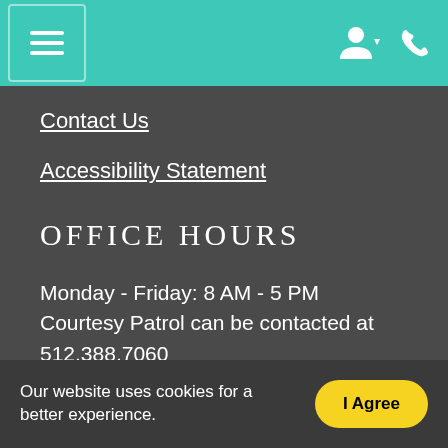Navigation bar with hamburger menu, user icon, and phone icon
Contact Us
Accessibility Statement
OFFICE HOURS
Monday - Friday: 8 AM - 5 PM
Courtesy Patrol can be contacted at 512.388.7060
[Figure (illustration): Facebook and Instagram social media icons]
Our website uses cookies for a better experience.